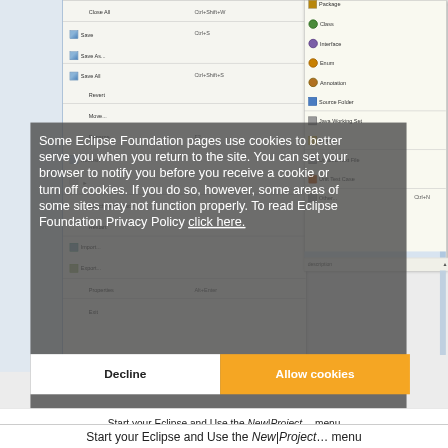[Figure (screenshot): Eclipse IDE screenshot showing a File menu open with options like Close All (Ctrl+Shift+W), Save (Ctrl+S), Save As..., Save All (Ctrl+Shift+S), Revert, Move..., Rename..., Refresh, and others. A submenu shows New options: Package, Class, Interface, Enum, Annotation, Source Folder, Java Working Set, Folder, Untitled Text File, Unit Test Case, Other... (Ctrl+N). A cookie consent overlay is displayed over the screenshot with white text reading 'Some Eclipse Foundation pages use cookies to better serve you when you return to the site. You can set your browser to notify you before you receive a cookie or turn off cookies. If you do so, however, some areas of some sites may not function properly. To read Eclipse Foundation Privacy Policy click here.' with Decline and Allow cookies buttons.]
Some Eclipse Foundation pages use cookies to better serve you when you return to the site. You can set your browser to notify you before you receive a cookie or turn off cookies. If you do so, however, some areas of some sites may not function properly. To read Eclipse Foundation Privacy Policy click here.
Start your Eclipse and Use the New|Project... menu